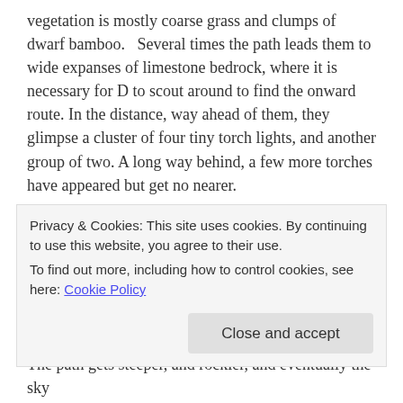vegetation is mostly coarse grass and clumps of dwarf bamboo.   Several times the path leads them to wide expanses of limestone bedrock, where it is necessary for D to scout around to find the onward route. In the distance, way ahead of them, they glimpse a cluster of four tiny torch lights, and another group of two. A long way behind, a few more torches have appeared but get no nearer.
An clearing of short rabbit-grazed grass shimmers at their feet. There is the barest sprinkling of frost.
They begin to climb, picking their way slowly up the rock-strewn path, step by step.   All focus is on the ground and the
Privacy & Cookies: This site uses cookies. By continuing to use this website, you agree to their use.
To find out more, including how to control cookies, see here: Cookie Policy
The path gets steeper, and rockier, and eventually the sky